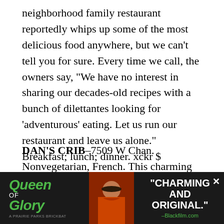neighborhood family restaurant reportedly whips up some of the most delicious food anywhere, but we can't tell you for sure. Every time we call, the owners say, “We have no interest in sharing our decades-old recipes with a bunch of dilettantes looking for ‘adventurous’ eating. Let us run our restaurant and leave us alone.” Breakfast; lunch; dinner. xckr $
DAN’S CRIB–7509 W Chan. Nonvegetarian, French. This charming new offering from our advertisers at Lettuce Entertain You, Inc., combines elegant Parisian bistro fare with the retro feel of a 1950s roadside diner. Start with a delightful goose-liver milkshake, then move on to a beautifully-composed Roquefort Velvet;
[Figure (infographic): Advertisement banner for 'Queen of Glory' film. Dark background with green logo text, photo of a woman, and the quote 'CHARMING AND ORIGINAL.' attributed to Blackfilm.com]